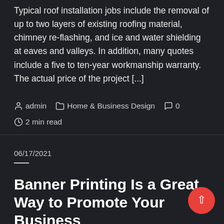Typical roof installation jobs include the removal of up to two layers of existing roofing material, chimney re-flashing, and ice and water shielding at eaves and valleys. In addition, many quotes include a five to ten-year workmanship warranty. The actual price of the project [...]
admin   Home & Business Design   0   2 min read
06/17/2021
Banner Printing Is a Great Way to Promote Your Business